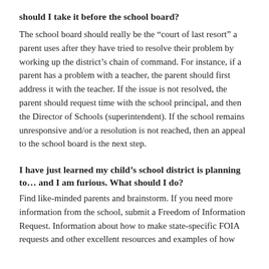should I take it before the school board?
The school board should really be the “court of last resort” a parent uses after they have tried to resolve their problem by working up the district’s chain of command. For instance, if a parent has a problem with a teacher, the parent should first address it with the teacher. If the issue is not resolved, the parent should request time with the school principal, and then the Director of Schools (superintendent). If the school remains unresponsive and/or a resolution is not reached, then an appeal to the school board is the next step.
I have just learned my child’s school district is planning to… and I am furious. What should I do?
Find like-minded parents and brainstorm. If you need more information from the school, submit a Freedom of Information Request. Information about how to make state-specific FOIA requests and other excellent resources and examples of how